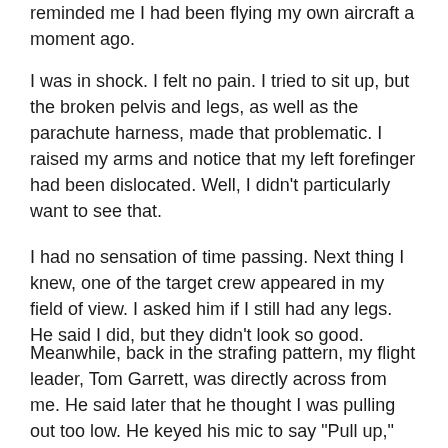reminded me I had been flying my own aircraft a moment ago.
I was in shock. I felt no pain. I tried to sit up, but the broken pelvis and legs, as well as the parachute harness, made that problematic. I raised my arms and notice that my left forefinger had been dislocated. Well, I didn't particularly want to see that.
I had no sensation of time passing. Next thing I knew, one of the target crew appeared in my field of view. I asked him if I still had any legs. He said I did, but they didn't look so good.
Meanwhile, back in the strafing pattern, my flight leader, Tom Garrett, was directly across from me. He said later that he thought I was pulling out too low. He keyed his mic to say "Pull up," but instead transmitted "Oh shit!" as my aircraft erupted into the typical black mushroom cloud.